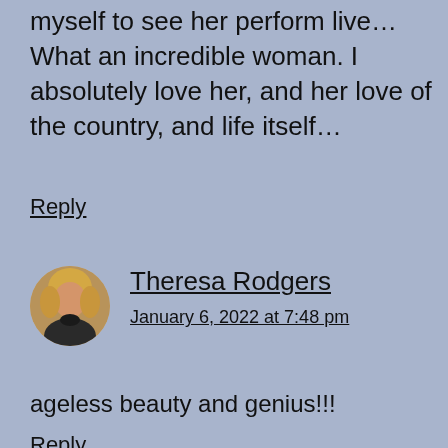myself to see her perform live… What an incredible woman. I absolutely love her, and her love of the country, and life itself…
Reply
[Figure (photo): Circular avatar photo of Theresa Rodgers, a woman with blonde hair wearing dark clothing]
Theresa Rodgers
January 6, 2022 at 7:48 pm
ageless beauty and genius!!!
Reply